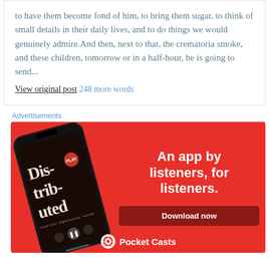to have them become fond of him, to bring them sugar, to think of small details in their daily lives, and to do things we would genuinely admire.And then, next to that, the crematoria smoke, and these children, tomorrow or in a half-hour, he is going to send...
View original post 248 more words
Advertisements
[Figure (illustration): Pocket Casts advertisement banner with red background showing a smartphone displaying the 'Distributed' podcast, with text 'An app by listeners, for listeners.' and a 'Download now' button and Pocket Casts logo at bottom.]